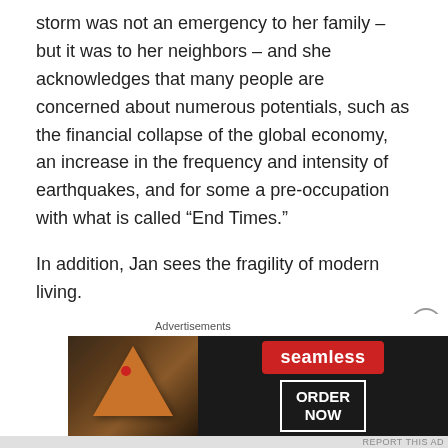storm was not an emergency to her family – but it was to her neighbors – and she acknowledges that many people are concerned about numerous potentials, such as the financial collapse of the global economy, an increase in the frequency and intensity of earthquakes, and for some a pre-occupation with what is called “End Times.”
In addition, Jan sees the fragility of modern living.
“My generation has made a huge move towards a complete dependency on grocery stores,” she bemoans, citing the problems of “just in time” deliveries and the resulting need for affordable, and available, petroleum products.
[Figure (other): Seamless food delivery advertisement banner showing pizza slices on dark background with Seamless logo and ORDER NOW button]